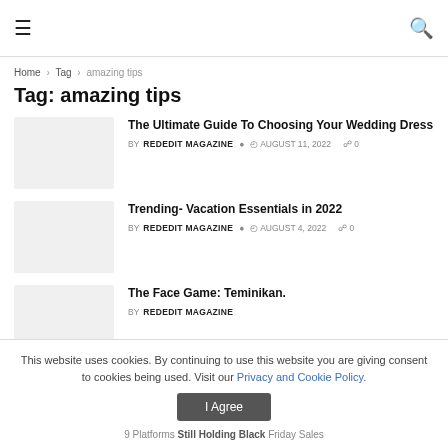☰ [search icon]
Home > Tag > amazing tips
Tag: amazing tips
The Ultimate Guide To Choosing Your Wedding Dress — BY REDEDIT MAGAZINE  AUGUST 11, 2022  0
Trending- Vacation Essentials in 2022 — BY REDEDIT MAGAZINE  AUGUST 4, 2022  0
The Face Game: Teminikan. — BY REDEDIT MAGAZINE
This website uses cookies. By continuing to use this website you are giving consent to cookies being used. Visit our Privacy and Cookie Policy.
I Agree
9 Platforms Still Holding Black Friday Sales